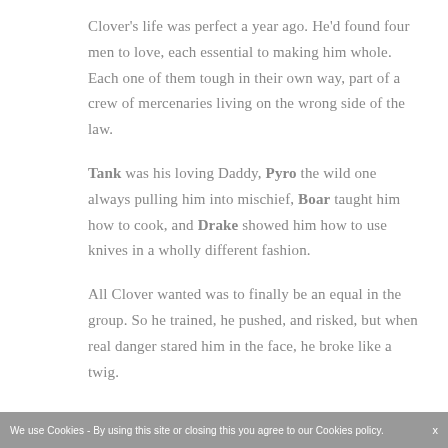Clover's life was perfect a year ago. He'd found four men to love, each essential to making him whole. Each one of them tough in their own way, part of a crew of mercenaries living on the wrong side of the law.
Tank was his loving Daddy, Pyro the wild one always pulling him into mischief, Boar taught him how to cook, and Drake showed him how to use knives in a wholly different fashion.
All Clover wanted was to finally be an equal in the group. So he trained, he pushed, and risked, but when real danger stared him in the face, he broke like a twig.
We use Cookies - By using this site or closing this you agree to our Cookies policy.    x